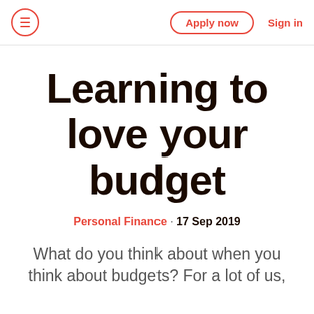≡  Apply now  Sign in
Learning to love your budget
Personal Finance · 17 Sep 2019
What do you think about when you think about budgets? For a lot of us,